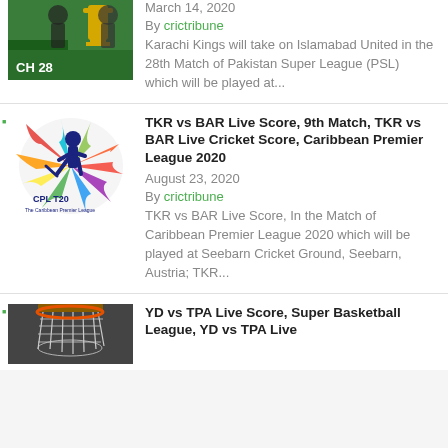[Figure (photo): Partial cricket match thumbnail with text 'CH 28']
March 14, 2020
By crictribune
Karachi Kings will take on Islamabad United in the 28th Match of Pakistan Super League (PSL) which will be played at...
[Figure (logo): CPL T20 Caribbean Premier League logo with colorful cricket player]
TKR vs BAR Live Score, 9th Match, TKR vs BAR Live Cricket Score, Caribbean Premier League 2020
August 23, 2020
By crictribune
TKR vs BAR Live Score, In the Match of Caribbean Premier League 2020 which will be played at Seebarn Cricket Ground, Seebarn, Austria; TKR...
[Figure (photo): Basketball net photo, partial view from below]
YD vs TPA Live Score, Super Basketball League, YD vs TPA Live